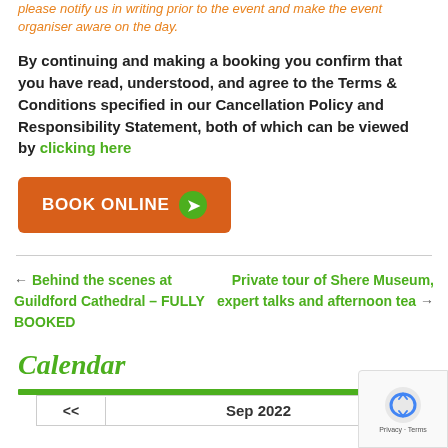please notify us in writing prior to the event and make the event organiser aware on the day.
By continuing and making a booking you confirm that you have read, understood, and agree to the Terms & Conditions specified in our Cancellation Policy and Responsibility Statement, both of which can be viewed by clicking here
[Figure (other): Orange 'BOOK ONLINE' button with green arrow circle]
← Behind the scenes at Guildford Cathedral – FULLY BOOKED
Private tour of Shere Museum, expert talks and afternoon tea →
Calendar
<< Sep 2022